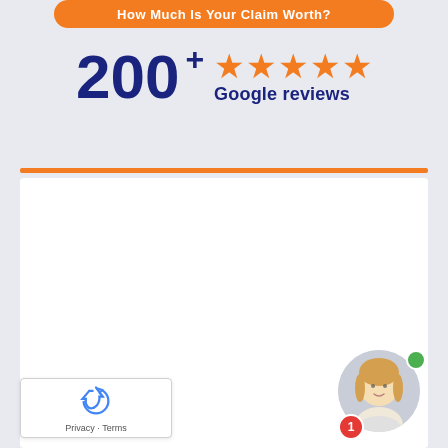How Much Is Your Claim Worth?
[Figure (infographic): 200+ five orange stars Google reviews badge]
[Figure (screenshot): White form/content box with orange top divider line]
[Figure (other): reCAPTCHA widget with Privacy and Terms links]
[Figure (other): Chat avatar of a woman with green online dot and red notification badge showing 1]